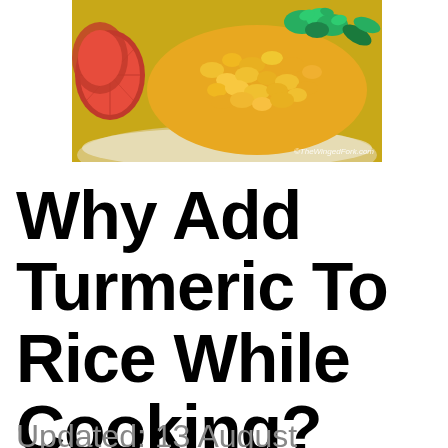[Figure (photo): A plate of yellow turmeric rice garnished with fresh green herbs (cilantro/dill), with sliced red tomatoes on the left side. Watermark reads '©TheWingedFork.com' in the bottom right corner.]
Why Add Turmeric To Rice While Cooking?
Updated: 13 August